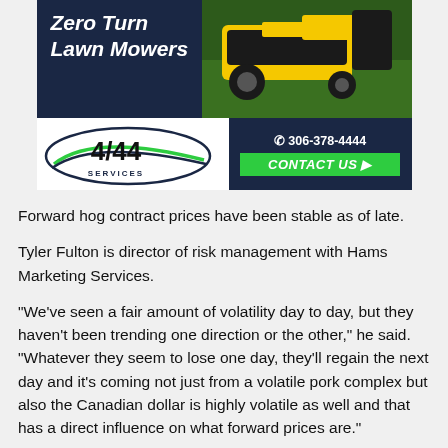[Figure (illustration): Advertisement banner for 4/44 Services featuring Zero Turn Lawn Mowers. Dark navy background with yellow/black mower image. Logo with oval design and '4/44 SERVICES' text. Phone number 306-378-4444 and green CONTACT US button.]
Forward hog contract prices have been stable as of late.
Tyler Fulton is director of risk management with Hams Marketing Services.
"We've seen a fair amount of volatility day to day, but they haven't been trending one direction or the other," he said. "Whatever they seem to lose one day, they'll regain the next day and it's coming not just from a volatile pork complex but also the Canadian dollar is highly volatile as well and that has a direct influence on what forward prices are."